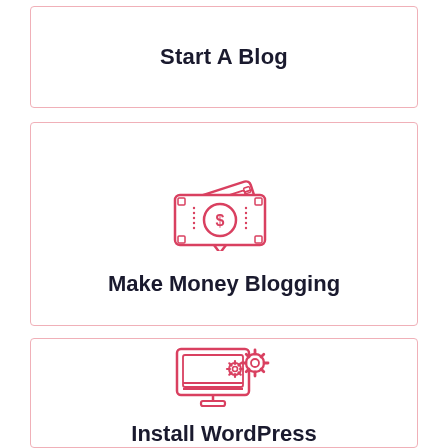Start A Blog
[Figure (illustration): Red outline icon of money/cash bills with a dollar sign coin]
Make Money Blogging
[Figure (illustration): Red outline icon of a computer monitor with gear/settings icons]
Install WordPress